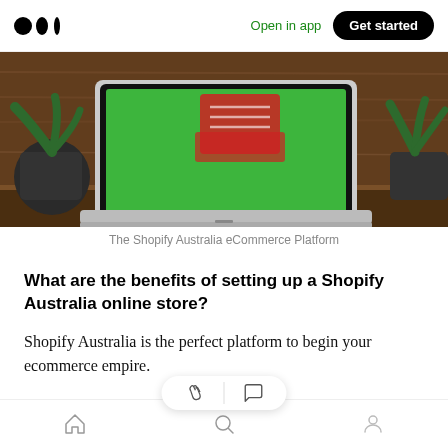Medium app header — Open in app | Get started
[Figure (photo): Laptop on a wooden shelf showing a green screen with a shopping cart, flanked by potted plants — The Shopify Australia eCommerce Platform]
The Shopify Australia eCommerce Platform
What are the benefits of setting up a Shopify Australia online store?
Shopify Australia is the perfect platform to begin your ecommerce empire.
Here’s a list of advantages for using Shopify Austalia:
Bottom navigation bar: Home | Search | Profile